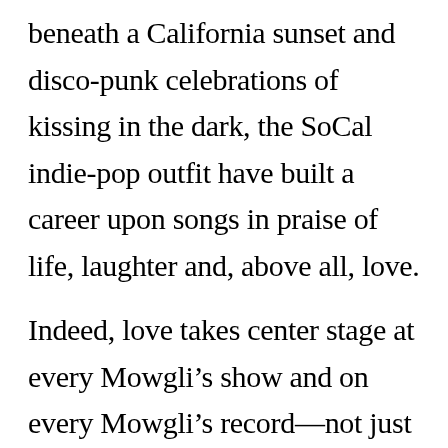beneath a California sunset and disco-punk celebrations of kissing in the dark, the SoCal indie-pop outfit have built a career upon songs in praise of life, laughter and, above all, love.

Indeed, love takes center stage at every Mowgli's show and on every Mowgli's record—not just through the band's music and lyrics, but